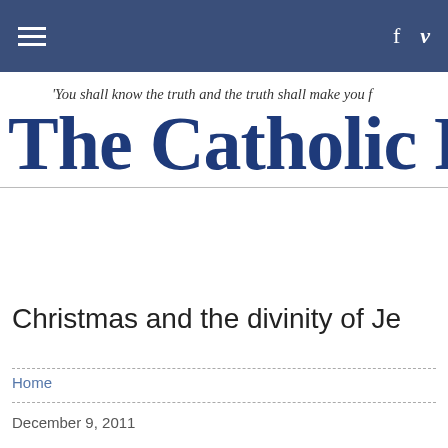f v
The Catholic Free
'You shall know the truth and the truth shall make you f
Christmas and the divinity of Je
Home
December 9, 2011